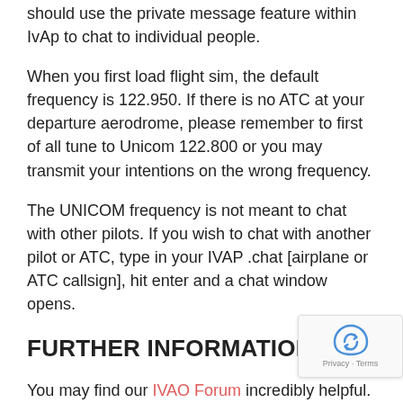should use the private message feature within IvAp to chat to individual people.
When you first load flight sim, the default frequency is 122.950. If there is no ATC at your departure aerodrome, please remember to first of all tune to Unicom 122.800 or you may transmit your intentions on the wrong frequency.
The UNICOM frequency is not meant to chat with other pilots. If you wish to chat with another pilot or ATC, type in your IVAP .chat [airplane or ATC callsign], hit enter and a chat window opens.
FURTHER INFORMATION
You may find our IVAO Forum incredibly helpful. A local division forum is also available, select it from the drop-down menu at the top. You can use it to ask any questions or post about any problems you